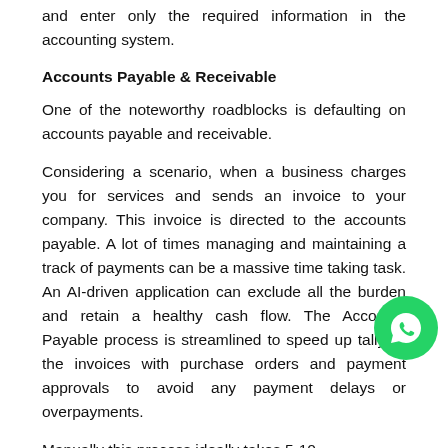and enter only the required information in the accounting system.
Accounts Payable & Receivable
One of the noteworthy roadblocks is defaulting on accounts payable and receivable.
Considering a scenario, when a business charges you for services and sends an invoice to your company. This invoice is directed to the accounts payable. A lot of times managing and maintaining a track of payments can be a massive time taking task. An AI-driven application can exclude all the burden and retain a healthy cash flow. The Accounts Payable process is streamlined to speed up tallying the invoices with purchase orders and payment approvals to avoid any payment delays or overpayments.
Manually this process ideally takes 5-10